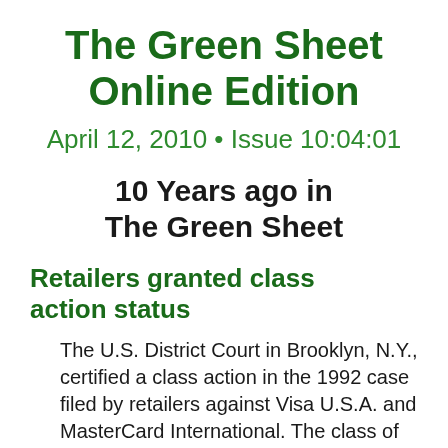The Green Sheet Online Edition
April 12, 2010 • Issue 10:04:01
10 Years ago in The Green Sheet
Retailers granted class action status
The U.S. District Court in Brooklyn, N.Y., certified a class action in the 1992 case filed by retailers against Visa U.S.A. and MasterCard International. The class of